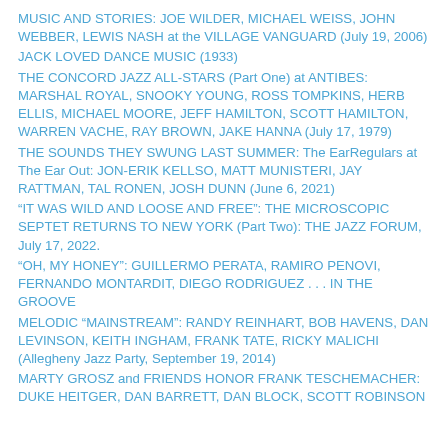MUSIC AND STORIES: JOE WILDER, MICHAEL WEISS, JOHN WEBBER, LEWIS NASH at the VILLAGE VANGUARD (July 19, 2006)
JACK LOVED DANCE MUSIC (1933)
THE CONCORD JAZZ ALL-STARS (Part One) at ANTIBES: MARSHAL ROYAL, SNOOKY YOUNG, ROSS TOMPKINS, HERB ELLIS, MICHAEL MOORE, JEFF HAMILTON, SCOTT HAMILTON, WARREN VACHE, RAY BROWN, JAKE HANNA (July 17, 1979)
THE SOUNDS THEY SWUNG LAST SUMMER: The EarRegulars at The Ear Out: JON-ERIK KELLSO, MATT MUNISTERI, JAY RATTMAN, TAL RONEN, JOSH DUNN (June 6, 2021)
“IT WAS WILD AND LOOSE AND FREE”: THE MICROSCOPIC SEPTET RETURNS TO NEW YORK (Part Two): THE JAZZ FORUM, July 17, 2022.
“OH, MY HONEY”: GUILLERMO PERATA, RAMIRO PENOVI, FERNANDO MONTARDIT, DIEGO RODRIGUEZ . . . IN THE GROOVE
MELODIC “MAINSTREAM”: RANDY REINHART, BOB HAVENS, DAN LEVINSON, KEITH INGHAM, FRANK TATE, RICKY MALICHI (Allegheny Jazz Party, September 19, 2014)
MARTY GROSZ and FRIENDS HONOR FRANK TESCHEMACHER: DUKE HEITGER, DAN BARRETT, DAN BLOCK, SCOTT ROBINSON